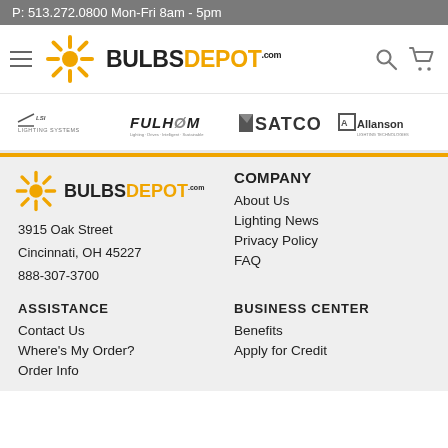P: 513.272.0800 Mon-Fri 8am - 5pm
[Figure (logo): Bulbs Depot logo with sunburst icon, hamburger menu, search and cart icons in navigation header]
[Figure (logo): Brand logos strip: Lighting Systems, Fulham, SATCO, Allanson]
[Figure (logo): Bulbs Depot footer logo with sunburst icon]
3915 Oak Street
Cincinnati, OH 45227
888-307-3700
COMPANY
About Us
Lighting News
Privacy Policy
FAQ
ASSISTANCE
Contact Us
Where's My Order?
Order Info
BUSINESS CENTER
Benefits
Apply for Credit